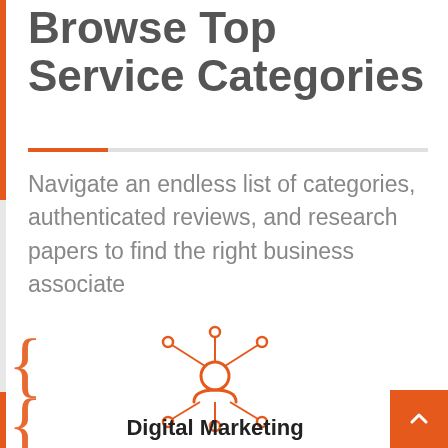Browse Top Service Categories
Navigate an endless list of categories, authenticated reviews, and research papers to find the right business associate
[Figure (illustration): Orange line-art icon of a person with network connection nodes radiating outward (digital marketing / network hub icon)]
Digital Marketing